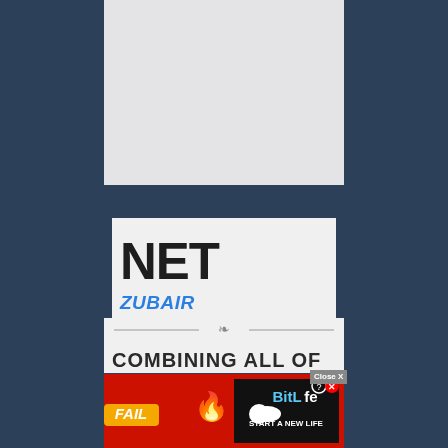[Figure (other): Light gray placeholder card at top, representing an image or advertisement slot]
NET WORTH
ZUBAIR WEATHERFORD
[Figure (other): Decorative horizontal divider with ornamental center element]
COMBINING ALL OF TH
[Figure (other): BitLife advertisement banner showing FAIL animation, cartoon character, flames, and START A NEW LIFE text with Close X button]